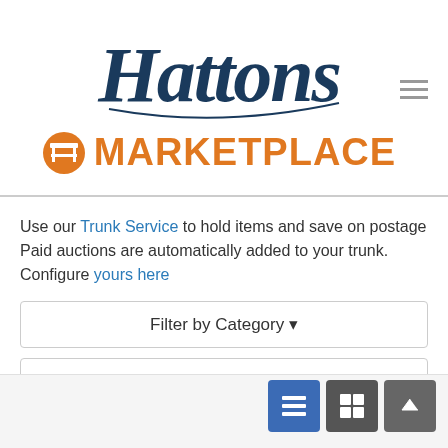[Figure (logo): Hattons Marketplace logo with stylized script 'Hattons' in dark navy and orange 'MARKETPLACE' text with a market stall icon]
Use our Trunk Service to hold items and save on postage Paid auctions are automatically added to your trunk. Configure yours here
Filter by Category ▾
Filter by Delivery Date ▾
Home / Refine Search